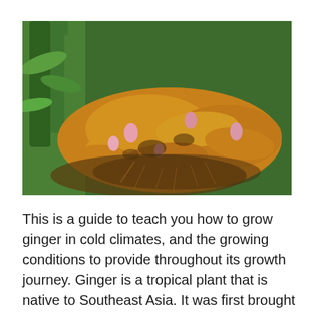[Figure (photo): Close-up photograph of ginger roots freshly dug from soil, showing the knobbly rhizomes with pink buds and soil clinging to fibrous roots, with green ginger plant stems visible in the background.]
This is a guide to teach you how to grow ginger in cold climates, and the growing conditions to provide throughout its growth journey. Ginger is a tropical plant that is native to Southeast Asia. It was first brought to Europe by traders, and eventually, it